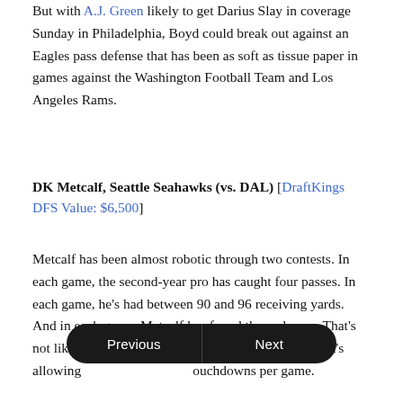But with A.J. Green likely to get Darius Slay in coverage Sunday in Philadelphia, Boyd could break out against an Eagles pass defense that has been as soft as tissue paper in games against the Washington Football Team and Los Angeles Rams.
DK Metcalf, Seattle Seahawks (vs. DAL) [DraftKings DFS Value: $6,500]
Metcalf has been almost robotic through two contests. In each game, the second-year pro has caught four passes. In each game, he's had between 90 and 96 receiving yards. And in each game, Metcalf has found the end zone. That's not likely to change against a Cowboys secondary that's allowing [Previous] [Next] ouchdowns per game.